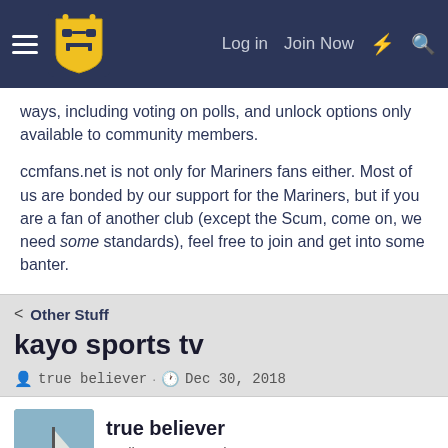CCMfans.net — Log in  Join Now
ways, including voting on polls, and unlock options only available to community members.

ccmfans.net is not only for Mariners fans either. Most of us are bonded by our support for the Mariners, but if you are a fan of another club (except the Scum, come on, we need some standards), feel free to join and get into some banter.
< Other Stuff
kayo sports tv
true believer · Dec 30, 2018
true believer
Well-Known Member